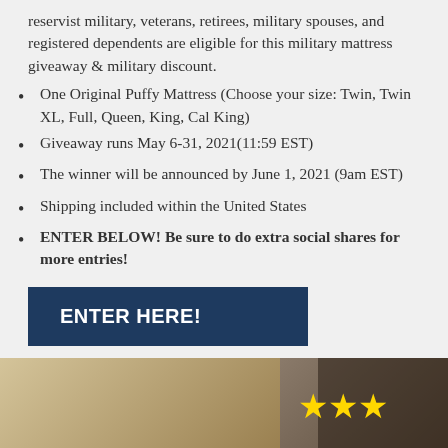reservist military, veterans, retirees, military spouses, and registered dependents are eligible for this military mattress giveaway & military discount.
One Original Puffy Mattress (Choose your size: Twin, Twin XL, Full, Queen, King, Cal King)
Giveaway runs May 6-31, 2021(11:59 EST)
The winner will be announced by June 1, 2021 (9am EST)
Shipping included within the United States
ENTER BELOW! Be sure to do extra social shares for more entries!
ENTER HERE!
[Figure (photo): Photo of a military/outdoor scene with three gold stars visible in the right portion of the image]